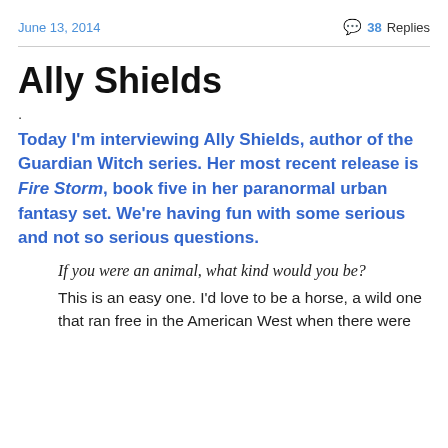June 13, 2014   💬 38 Replies
Ally Shields
.
Today I'm interviewing Ally Shields, author of the Guardian Witch series. Her most recent release is Fire Storm, book five in her paranormal urban fantasy set. We're having fun with some serious and not so serious questions.
If you were an animal, what kind would you be?
This is an easy one. I'd love to be a horse, a wild one that ran free in the American West when there were